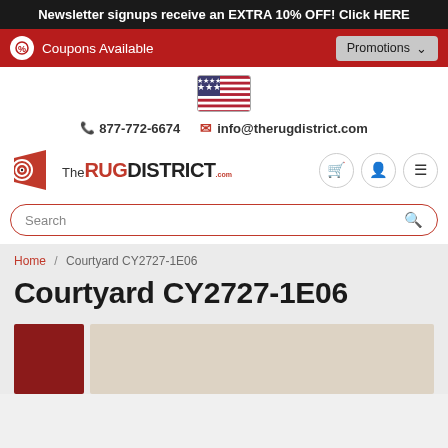Newsletter signups receive an EXTRA 10% OFF! Click HERE
Coupons Available    Promotions
[Figure (illustration): US flag icon]
877-772-6674   info@therugdistrict.com
[Figure (logo): The Rug District logo with spiral design]
Search
Home / Courtyard CY2727-1E06
Courtyard CY2727-1E06
[Figure (photo): Dark red/burgundy colored rug thumbnail]